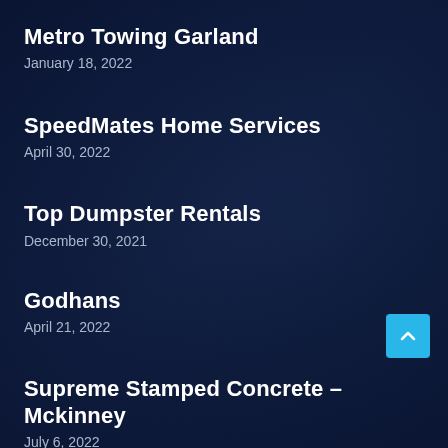Metro Towing Garland
January 18, 2022
SpeedMates Home Services
April 30, 2022
Top Dumpster Rentals
December 30, 2021
Godhans
April 21, 2022
Supreme Stamped Concrete – Mckinney
July 6, 2022
Broadway Smoke Shop